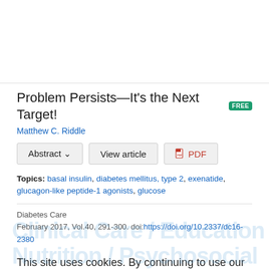Problem Persists—It's the Next Target!
Matthew C. Riddle
Abstract | View article | PDF
Topics: basal insulin, diabetes mellitus, type 2, exenatide, glucagon-like peptide-1 agonists, glucose
Diabetes Care
February 2017, Vol.40, 291-300. doi:https://doi.org/10.2337/dc16-2380
This site uses cookies. By continuing to use our website, you are agreeing to our privacy policy. Accept
Clinical Care / Education / Nutrition / Psychosocial